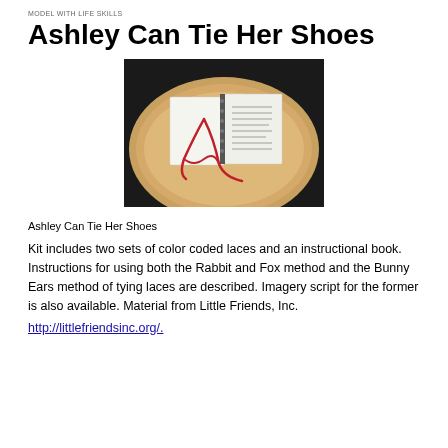MODEL WITH LIFE SKILLS
Ashley Can Tie Her Shoes
[Figure (photo): Photo of an open spiral-bound instructional book with red color-coded laces placed on top, resting on a round wooden table with a dark background.]
Ashley Can Tie Her Shoes
Kit includes two sets of color coded laces and an instructional book.  Instructions for using both the Rabbit and Fox method and the Bunny Ears method of tying laces are described.  Imagery script for the former is also available.  Material from Little Friends, Inc.
http://littlefriendsinc.org/.